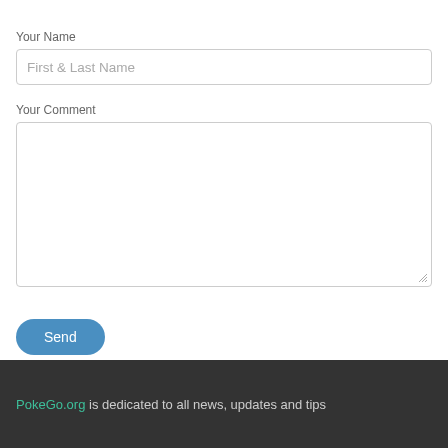Your Name
[Figure (screenshot): Text input field with placeholder text 'First & Last Name']
Your Comment
[Figure (screenshot): Large multiline textarea for comment input]
[Figure (screenshot): Blue rounded 'Send' button]
PokeGo.org is dedicated to all news, updates and tips